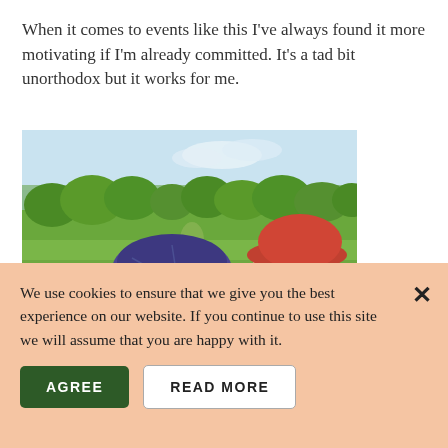When it comes to events like this I've always found it more motivating if I'm already committed. It's a tad bit unorthodox but it works for me.
[Figure (photo): A man wearing a dark blue baseball cap carrying a young child in a red bucket hat in a baby carrier on his back. Green grassy field and trees visible in the background on a sunny day.]
We use cookies to ensure that we give you the best experience on our website. If you continue to use this site we will assume that you are happy with it.